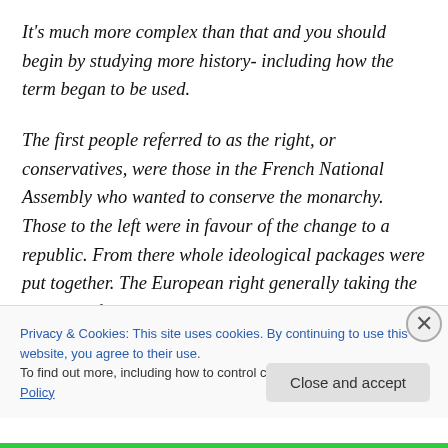It's much more complex than that and you should begin by studying more history- including how the term began to be used.

The first people referred to as the right, or conservatives, were those in the French National Assembly who wanted to conserve the monarchy. Those to the left were in favour of the change to a republic. From there whole ideological packages were put together. The European right generally taking the position of conserving things as they
Privacy & Cookies: This site uses cookies. By continuing to use this website, you agree to their use.
To find out more, including how to control cookies, see here: Cookie Policy